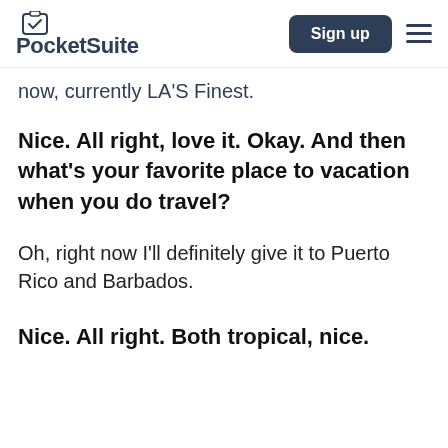PocketSuite  Sign up
now, currently LA's Finest.
Nice. All right, love it. Okay. And then what's your favorite place to vacation when you do travel?
Oh, right now I'll definitely give it to Puerto Rico and Barbados.
Nice. All right. Both tropical, nice.